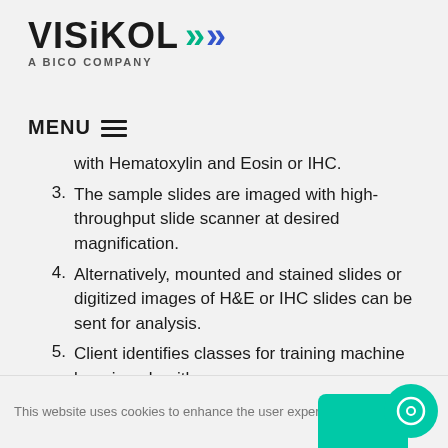[Figure (logo): Visikol logo with double chevron arrows (teal and blue) and tagline A BICO COMPANY]
MENU ≡
with Hematoxylin and Eosin or IHC.
3. The sample slides are imaged with high-throughput slide scanner at desired magnification.
4. Alternatively, mounted and stained slides or digitized images of H&E or IHC slides can be sent for analysis.
5. Client identifies classes for training machine learning algorithm
6. The training set of images is annotated to identify classes
7. Machine learning algorithm is trained using the
This website uses cookies to enhance the user experience.